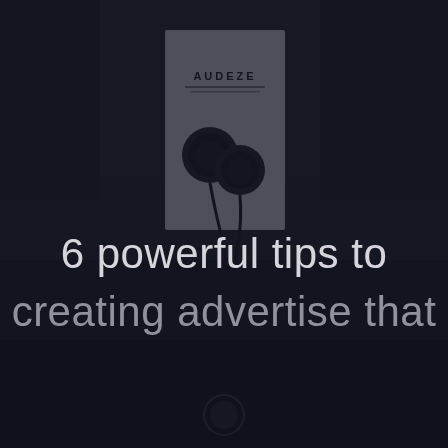[Figure (photo): Dark background photo showing an Audeze earphone product box with earbuds/in-ear monitors visible, placed on a dark surface with a blurred background. A dark semi-transparent overlay covers the image.]
6 powerful tips to creating advertise that